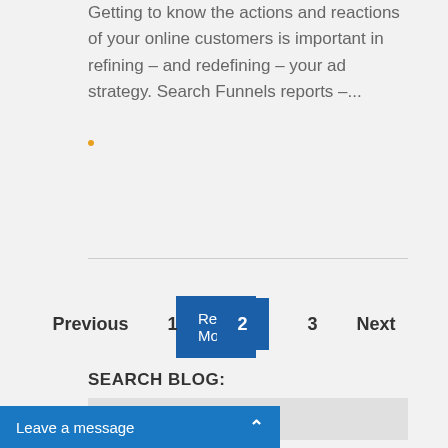Getting to know the actions and reactions of your online customers is important in refining – and redefining – your ad strategy. Search Funnels reports –...
Read More
Previous  1  2  3  Next
SEARCH BLOG:
Search...
Leave a message